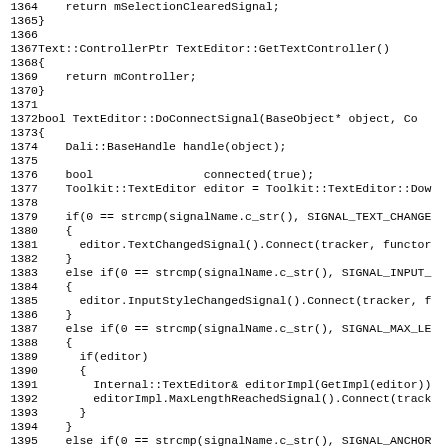[Figure (screenshot): Source code listing in monospace font showing C++ code for TextEditor class methods, lines 1364-1395, including GetSelectionClearedSignal, GetTextController, and DoConnectSignal functions with signal comparisons.]